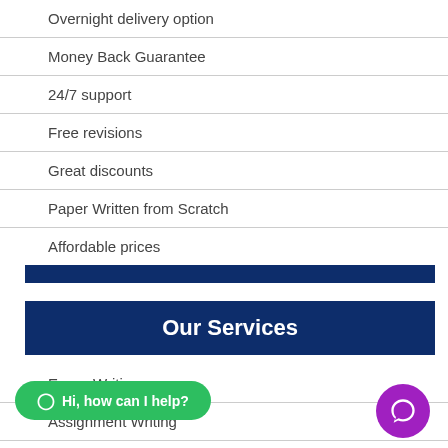Overnight delivery option
Money Back Guarantee
24/7 support
Free revisions
Great discounts
Paper Written from Scratch
Affordable prices
Our Services
Essay Writing
Assignment Writing
Coursework Writing